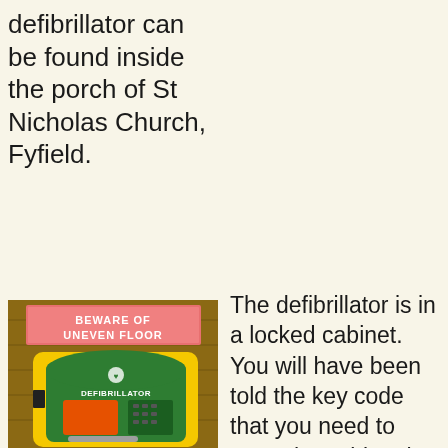defibrillator can be found inside the porch of St Nicholas Church, Fyfield.
The defibrillator is in a locked cabinet. You will have been told the key code that you need to open the cabinet by the emergency operator. The light in the porch should come on when you enter and there is a
[Figure (photo): Photo of a green and yellow defibrillator cabinet mounted on a wooden wall inside a church porch. Above the cabinet is a pink sign reading 'BEWARE OF UNEVEN FLOOR'. The cabinet is labelled 'DEFIBRILLATOR' and has a keypad lock.]